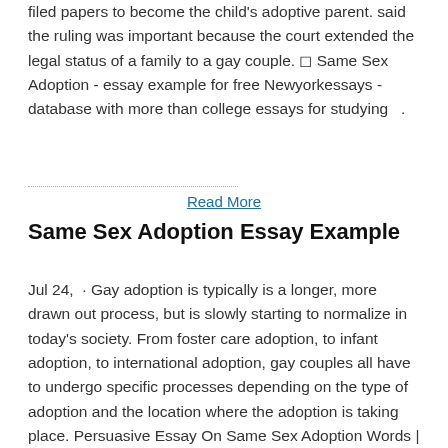filed papers to become the child's adoptive parent. said the ruling was important because the court extended the legal status of a family to a gay couple. ◻ Same Sex Adoption - essay example for free Newyorkessays - database with more than college essays for studying  .
Read More
Same Sex Adoption Essay Example
Jul 24, · Gay adoption is typically is a longer, more drawn out process, but is slowly starting to normalize in today's society. From foster care adoption, to infant adoption, to international adoption, gay couples all have to undergo specific processes depending on the type of adoption and the location where the adoption is taking place. Persuasive Essay On Same Sex Adoption Words | 6 Pages. Adoption saves many children's lives and gives them new opportunities to create a life they may desire. Adoption keeps children out of homeless shelters and